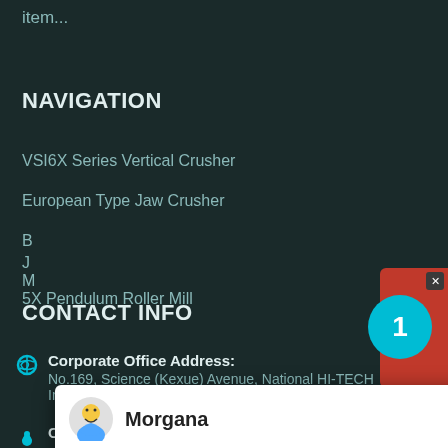item...
NAVIGATION
VSI6X Series Vertical Crusher
European Type Jaw Crusher
5X Pendulum Roller Mill
[Figure (screenshot): Chat popup with avatar of Morgana, greeting: Hello, I am Morgana, I am very glad to talk with you!]
CONTACT INFO
Corporate Office Address: No.169, Science (Kexue) Avenue, National HI-TECH Industry Development Zone, Zhengzhou, China
Customer Service: